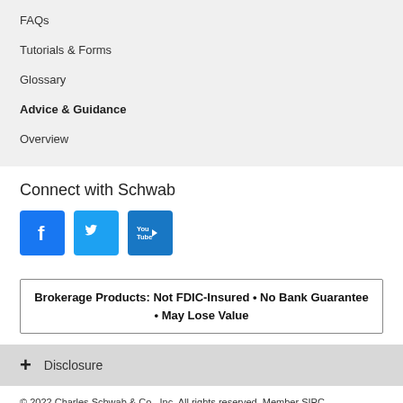FAQs
Tutorials & Forms
Glossary
Advice & Guidance
Overview
Connect with Schwab
[Figure (logo): Three social media icons: Facebook (blue square with F), Twitter (blue square with bird), YouTube (blue square with play button and 'You Tube' text)]
Brokerage Products: Not FDIC-Insured • No Bank Guarantee • May Lose Value
+ Disclosure
© 2022 Charles Schwab & Co., Inc. All rights reserved. Member SIPC. CS18801-01 (0714-4027) (01/14)